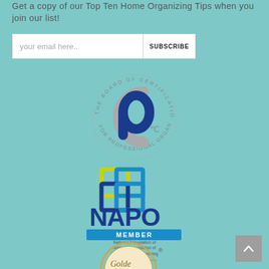Get a copy of our Top Ten Home Organizing Tips when you join our list!
[Figure (other): Email subscription form with input field placeholder 'your email here..' and SUBSCRIBE button]
[Figure (logo): The Board of Certification for Professional Organizers circular logo with interlocking C and P letters in blue and grey]
[Figure (logo): NAPO Member logo - National Association of Productivity & Organizing Professionals with overlapping square icon in blue and yellow]
[Figure (logo): Golden logo partially visible at bottom with registered trademark symbol]